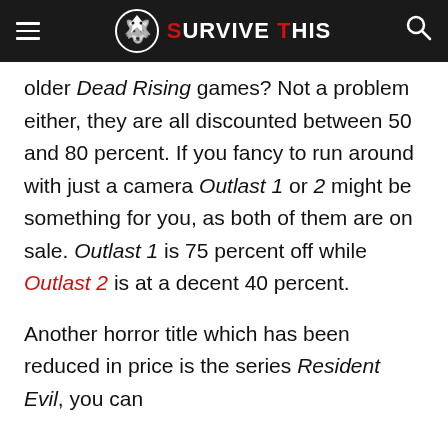SURVIVE THIS
older Dead Rising games? Not a problem either, they are all discounted between 50 and 80 percent. If you fancy to run around with just a camera Outlast 1 or 2 might be something for you, as both of them are on sale. Outlast 1 is 75 percent off while Outlast 2 is at a decent 40 percent.
Another horror title which has been reduced in price is the series Resident Evil, you can